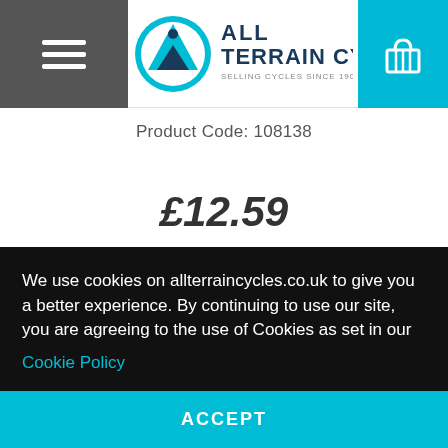[Figure (logo): All Terrain Cycles logo — mountain circle badge in blue/teal with cyclist silhouette, text 'ALL TERRAIN CYCLES' and 'SELLING CYCLES SINCE 1907']
Product Code: 108138
£12.59
WAS £13.99
Save 10%
We use cookies on allterraincycles.co.uk to give you a better experience. By continuing to use our site, you are agreeing to the use of Cookies as set in our Cookie Policy
ACCEPT